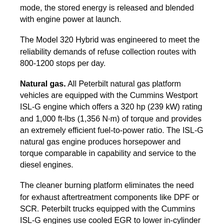mode, the stored energy is released and blended with engine power at launch.
The Model 320 Hybrid was engineered to meet the reliability demands of refuse collection routes with 800-1200 stops per day.
Natural gas. All Peterbilt natural gas platform vehicles are equipped with the Cummins Westport ISL-G engine which offers a 320 hp (239 kW) rating and 1,000 ft-lbs (1,356 N·m) of torque and provides an extremely efficient fuel-to-power ratio. The ISL-G natural gas engine produces horsepower and torque comparable in capability and service to the diesel engines.
The cleaner burning platform eliminates the need for exhaust aftertreatment components like DPF or SCR. Peterbilt trucks equipped with the Cummins ISL-G engines use cooled EGR to lower in-cylinder exhaust gas temperature. The ISL-G engine has a maintenance free three way catalyst (TWC) that is 95% effective in NOx conversion and is highly effective in controlling all CO2